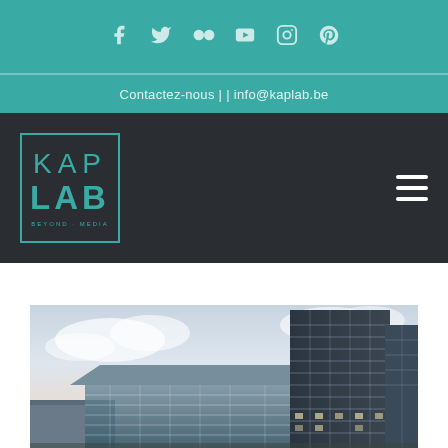Social media icons: Facebook, Twitter, Flickr, YouTube, Instagram, Pinterest
Contactez-nous | | info@kaplab.be
[Figure (logo): KAP LAB logo with teal border and text]
[Figure (photo): Modern glass office building architecture rendering with dramatic sky background]